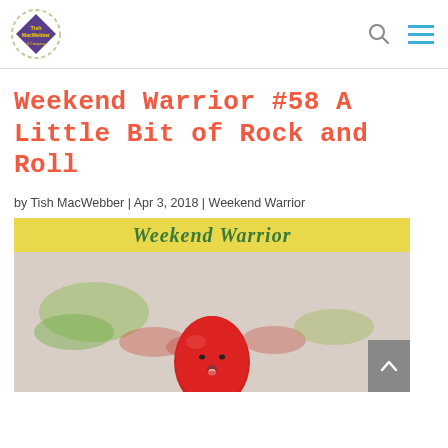Tish MacWebber logo, search icon, menu icon
Weekend Warrior #58 A Little Bit of Rock and Roll
by Tish MacWebber | Apr 3, 2018 | Weekend Warrior
[Figure (photo): Weekend Warrior banner image with yellow header showing 'Weekend Warrior' text in green italic script, and below it a photo of cherry tomatoes with one tomato in the foreground that has a cartoon face drawn on it, with blurred vegetables in the background.]